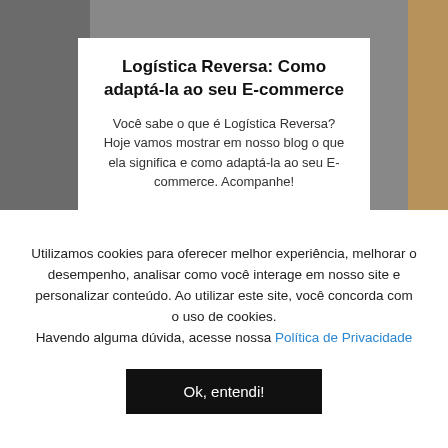[Figure (photo): Background photo showing people or packages related to e-commerce logistics, with a white card overlay in the center]
Logística Reversa: Como adaptá-la ao seu E-commerce
Você sabe o que é Logística Reversa? Hoje vamos mostrar em nosso blog o que ela significa e como adaptá-la ao seu E-commerce. Acompanhe!
Utilizamos cookies para oferecer melhor experiência, melhorar o desempenho, analisar como você interage em nosso site e personalizar conteúdo. Ao utilizar este site, você concorda com o uso de cookies. Havendo alguma dúvida, acesse nossa Política de Privacidade